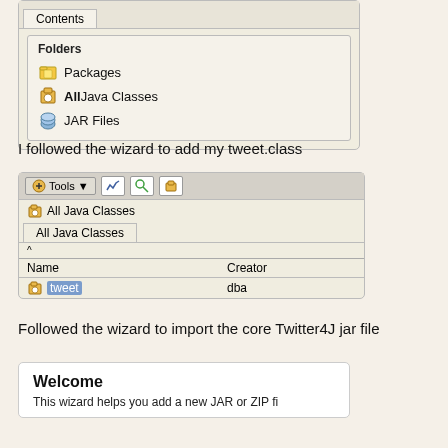[Figure (screenshot): IDE wizard screenshot showing Contents tab with Folders section listing Packages, All Java Classes, and JAR Files]
I followed the wizard to add my tweet.class
[Figure (screenshot): IDE screenshot showing All Java Classes view with a table listing tweet class created by dba]
Followed the wizard to import the core Twitter4J jar file
[Figure (screenshot): Welcome dialog for adding a new JAR or ZIP file wizard]